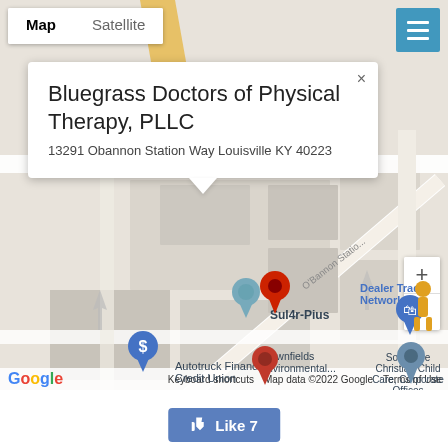[Figure (map): Google Maps screenshot showing the location of Bluegrass Doctors of Physical Therapy, PLLC at 13291 Obannon Station Way Louisville KY 40223, with a red pin marker, nearby businesses including Autotruck Financial Credit Union, Dealer Trade Network, Sul4r-Plus, Southside Christian Child Care Corporate Offices, Brownfields Environmental. Map/Satellite toggle at top left, hamburger menu at top right, zoom controls at right, Google logo and attribution at bottom.]
👍 Like 7